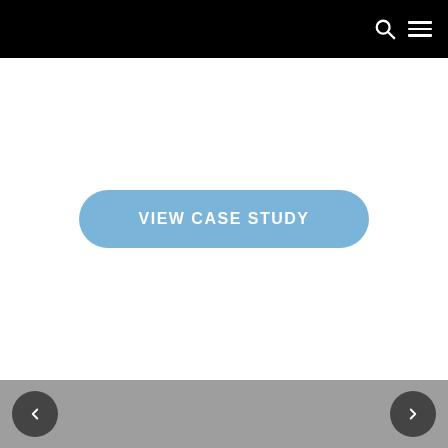[Figure (screenshot): A website screenshot showing a black navigation bar at the top with a search icon and hamburger menu icon on the right, a large white content area in the middle containing a rounded blue button labeled 'VIEW CASE STUDY', and a gray footer bar at the bottom with left and right navigation arrow buttons.]
VIEW CASE STUDY